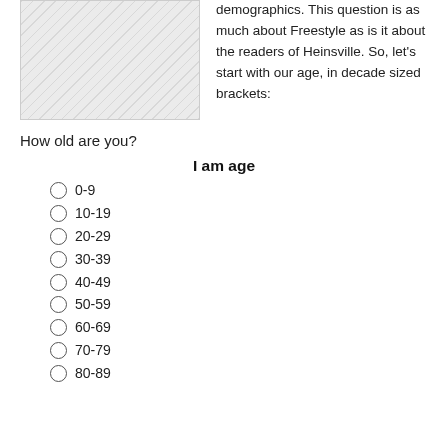[Figure (illustration): Hatched/shaded placeholder image box on the left side]
demographics. This question is as much about Freestyle as is it about the readers of Heinsville. So, let's start with our age, in decade sized brackets:
How old are you?
I am age
0-9
10-19
20-29
30-39
40-49
50-59
60-69
70-79
80-89